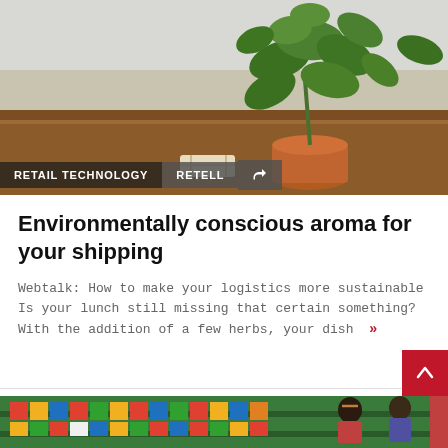[Figure (photo): A green basil plant in a terracotta pot on a wooden surface, blurred light background]
RETAIL TECHNOLOGY   RETELL
Environmentally conscious aroma for your shipping
Webtalk: How to make your logistics more sustainable Is your lunch still missing that certain something? With the addition of a few herbs, your dish »
[Figure (photo): People browsing in a retail store with colorful shelves]